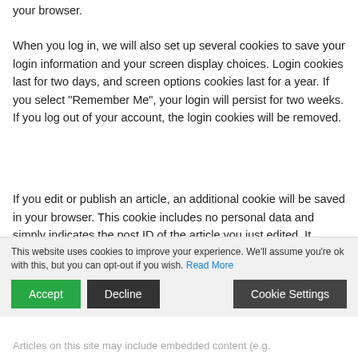your browser.
When you log in, we will also set up several cookies to save your login information and your screen display choices. Login cookies last for two days, and screen options cookies last for a year. If you select "Remember Me", your login will persist for two weeks. If you log out of your account, the login cookies will be removed.
If you edit or publish an article, an additional cookie will be saved in your browser. This cookie includes no personal data and simply indicates the post ID of the article you just edited. It expires after 1 day.
Embedded content from other websites
This website uses cookies to improve your experience. We'll assume you're ok with this, but you can opt-out if you wish. Read More
Articles on this site may include embedded content (e.g.